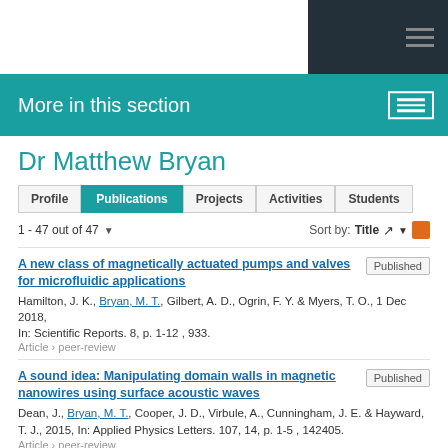More in this section
Dr Matthew Bryan
Profile | Publications | Projects | Activities | Students
1 - 47 out of 47  Sort by: Title
A new class of magnetically actuated pumps and valves for microfluidic applications
Hamilton, J. K., Bryan, M. T., Gilbert, A. D., Ogrin, F. Y. & Myers, T. O., 1 Dec 2018, In: Scientific Reports. 8, p. 1-12 , 933.
Article › peer-review
Published
A sound idea: Manipulating domain walls in magnetic nanowires using surface acoustic waves
Dean, J., Bryan, M. T., Cooper, J. D., Virbule, A., Cunningham, J. E. & Hayward, T. J., 2015, In: Applied Physics Letters. 107, 14, p. 1-5 , 142405.
Article › peer-review
Published